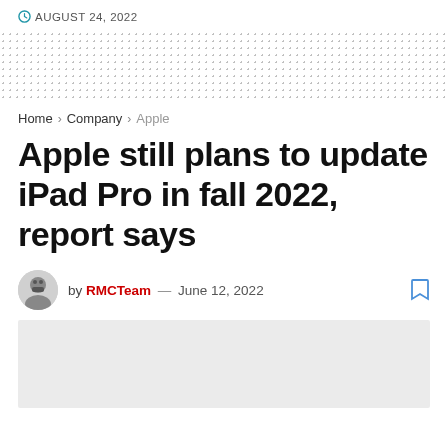AUGUST 24, 2022
[Figure (other): Decorative dotted background pattern area]
Home > Company > Apple
Apple still plans to update iPad Pro in fall 2022, report says
by RMCTeam — June 12, 2022
[Figure (photo): Gray image placeholder rectangle]